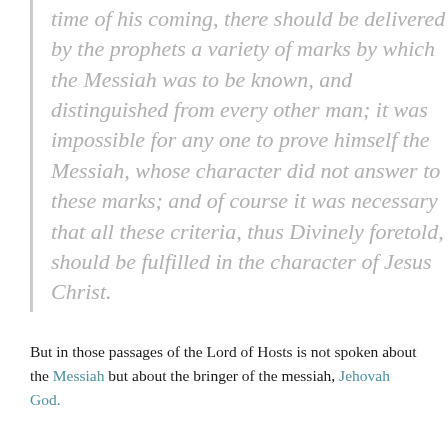time of his coming, there should be delivered by the prophets a variety of marks by which the Messiah was to be known, and distinguished from every other man; it was impossible for any one to prove himself the Messiah, whose character did not answer to these marks; and of course it was necessary that all these criteria, thus Divinely foretold, should be fulfilled in the character of Jesus Christ.
But in those passages of the Lord of Hosts is not spoken about the Messiah but about the bringer of the messiah, Jehovah God.